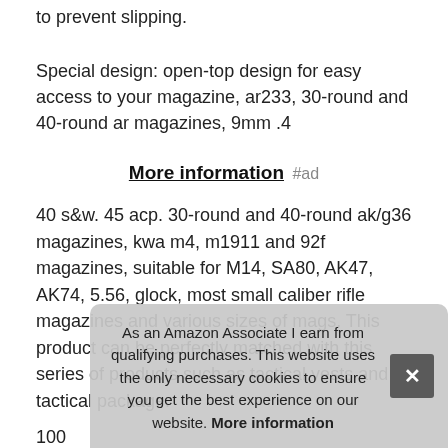to prevent slipping.
Special design: open-top design for easy access to your magazine, ar233, 30-round and 40-round ar magazines, 9mm .4
More information #ad
40 s&w. 45 acp. 30-round and 40-round ak/g36 magazines, kwa m4, m1911 and 92f magazines, suitable for M14, SA80, AK47, AK74, 5.56, glock, most small caliber rifle magazines and various sizes of mags. This product can be perfectly matched with this series of products such as tactical vests and tactical package.
100 ne for y 9. 5
As an Amazon Associate I earn from qualifying purchases. This website uses the only necessary cookies to ensure you get the best experience on our website. More information